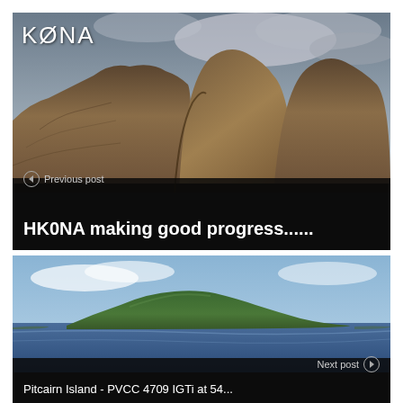[Figure (photo): Rocky cliff / volcanic rock formation with cloudy sky. KONA logo overlay in top left. Navigation card with previous post link and title 'HK0NA making good progress......']
[Figure (photo): Green tropical island viewed from the sea with blue water in foreground and partly cloudy sky. 'Next post' navigation link at bottom right. Partial title text visible at bottom.]